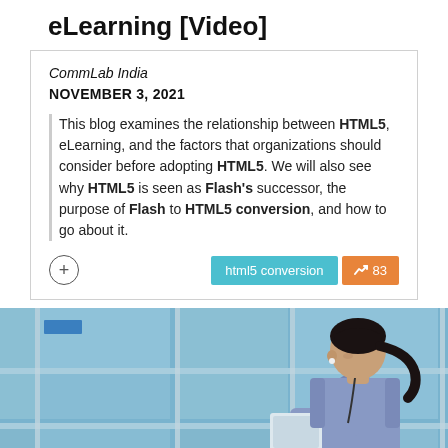eLearning [Video]
CommLab India
NOVEMBER 3, 2021
This blog examines the relationship between HTML5, eLearning, and the factors that organizations should consider before adopting HTML5. We will also see why HTML5 is seen as Flash's successor, the purpose of Flash to HTML5 conversion, and how to go about it.
[Figure (photo): Woman in blue shirt looking at a tablet, standing in front of a building with large glass windows]